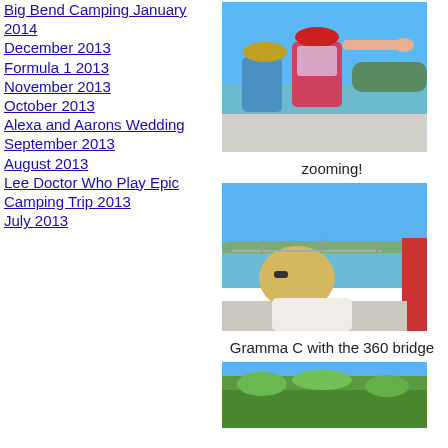Big Bend Camping January 2014
December 2013
Formula 1 2013
November 2013
October 2013
Alexa and Aarons Wedding September 2013
August 2013
Lee Doctor Who Play Epic Camping Trip 2013
July 2013
[Figure (photo): Two children on a boat wearing life jackets and hats, with a lake and hills in the background]
zooming!
[Figure (photo): Blonde woman viewed from behind on a boat, with a lake and the 360 bridge in the background]
Gramma C with the 360 bridge
[Figure (photo): View of green trees with blue sky]